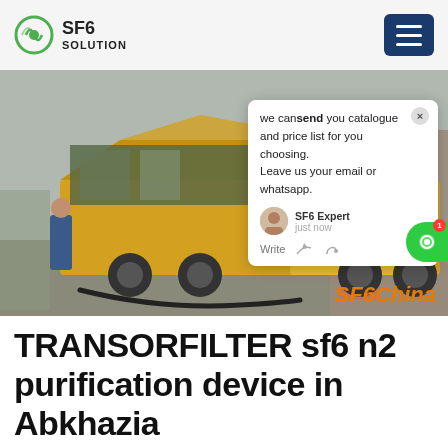SF6 SOLUTION
[Figure (photo): Yellow ISUZU truck with open cargo bed carrying industrial equipment, worker loading/unloading, industrial facility in background. Chat popup overlay visible with message: 'we can send you catalogue and price list for you choosing. Leave us your email or whatsapp.' SF6 Expert just now. SF6China watermark.]
TRANSORFILTER sf6 n2 purification device in Abkhazia